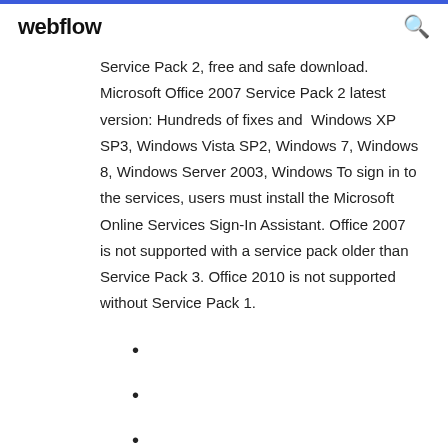webflow
Service Pack 2, free and safe download. Microsoft Office 2007 Service Pack 2 latest version: Hundreds of fixes and Windows XP SP3, Windows Vista SP2, Windows 7, Windows 8, Windows Server 2003, Windows To sign in to the services, users must install the Microsoft Online Services Sign-In Assistant. Office 2007 is not supported with a service pack older than Service Pack 3. Office 2010 is not supported without Service Pack 1.